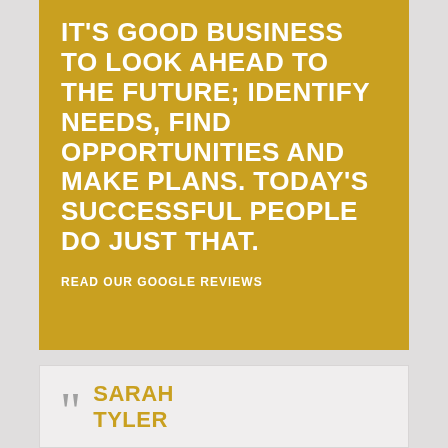IT'S GOOD BUSINESS TO LOOK AHEAD TO THE FUTURE; IDENTIFY NEEDS, FIND OPPORTUNITIES AND MAKE PLANS. TODAY'S SUCCESSFUL PEOPLE DO JUST THAT.
READ OUR GOOGLE REVIEWS
SARAH TYLER